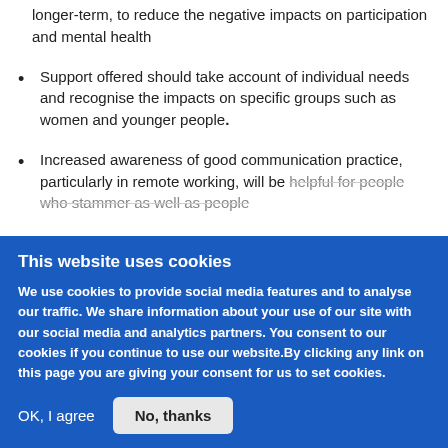longer-term, to reduce the negative impacts on participation and mental health
Support offered should take account of individual needs and recognise the impacts on specific groups such as women and younger people.
Increased awareness of good communication practice, particularly in remote working, will be helpful for people who stammer as well as people
This website uses cookies
We use cookies to provide social media features and to analyse our traffic. We share information about your use of our site with our social media and analytics partners. You consent to our cookies if you continue to use our website.By clicking any link on this page you are giving your consent for us to set cookies.
OK, I agree
No, thanks